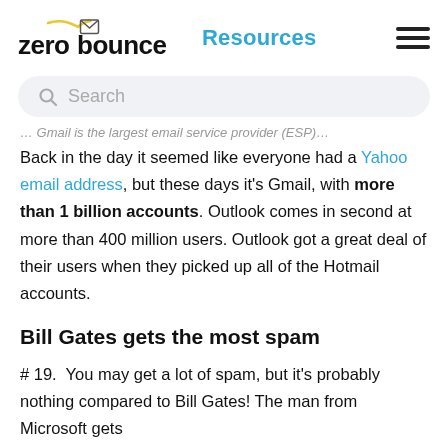zero bounce Resources
Search
… Gmail is the largest email service provider (ESP).
Back in the day it seemed like everyone had a Yahoo email address, but these days it's Gmail, with more than 1 billion accounts. Outlook comes in second at more than 400 million users. Outlook got a great deal of their users when they picked up all of the Hotmail accounts.
Bill Gates gets the most spam
# 19.  You may get a lot of spam, but it's probably nothing compared to Bill Gates! The man from Microsoft gets